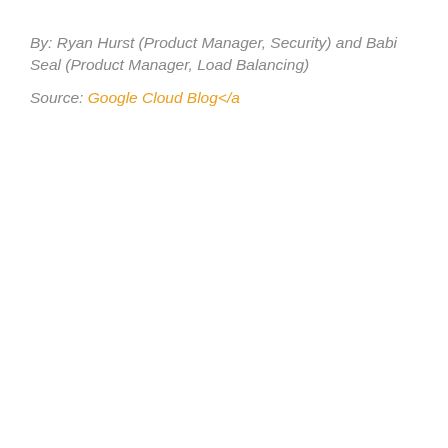By: Ryan Hurst (Product Manager, Security) and Babi Seal (Product Manager, Load Balancing)
Source: Google Cloud Blog</a>